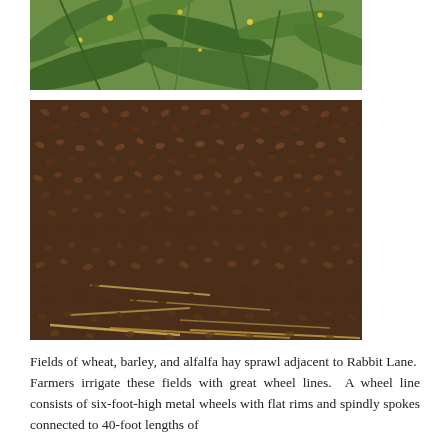[Figure (photo): Top portion of a photo showing green leafy plants with yellow flowers — likely alfalfa or a similar crop plant.]
[Figure (photo): Close-up photo of a large pile of small dark brown seeds (likely alfalfa or barley seeds) spread on a surface, with a few straw fragments visible.]
Fields of wheat, barley, and alfalfa hay sprawl adjacent to Rabbit Lane.  Farmers irrigate these fields with great wheel lines.  A wheel line consists of six-foot-high metal wheels with flat rims and spindly spokes connected to 40-foot lengths of